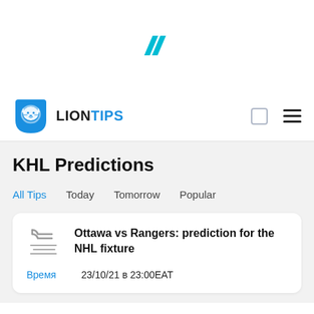[Figure (logo): Double chevron / parallelogram logo mark in teal/cyan color]
LIONTIPS
KHL Predictions
All Tips
Today
Tomorrow
Popular
Ottawa vs Rangers: prediction for the NHL fixture
Время  23/10/21 в 23:00EAT